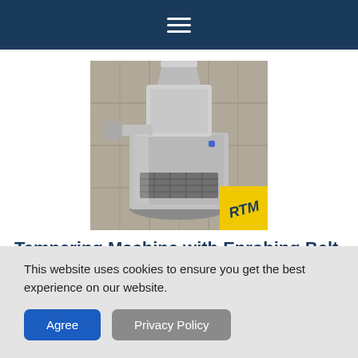Navigation menu (hamburger icon)
[Figure (photo): Stainless steel tempering machine with enrobing belt, shown outdoors on a tiled surface. RTM logo badge in bottom right corner of image.]
Tempering Machine with Enrobing Belt
Item # 8528 - TEMPERING MACHINE WITH ENROBING BELT
This website uses cookies to ensure you get the best experience on our website.
Agree  Privacy Policy